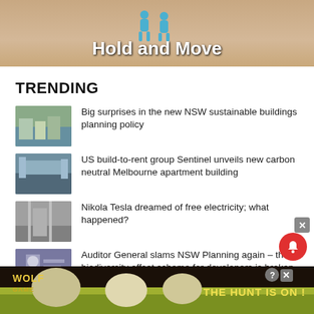[Figure (illustration): Top banner with sandy/desert background showing two blue human figures and bold white text 'Hold and Move']
TRENDING
Big surprises in the new NSW sustainable buildings planning policy
US build-to-rent group Sentinel unveils new carbon neutral Melbourne apartment building
Nikola Tesla dreamed of free electricity; what happened?
Auditor General slams NSW Planning again – the biodiversity offset scheme for developers is broken
Lendlease begins building 6-Star Green Star
[Figure (advertisement): Wolf Game advertisement banner with wolves and text 'THE HUNT IS ON !']